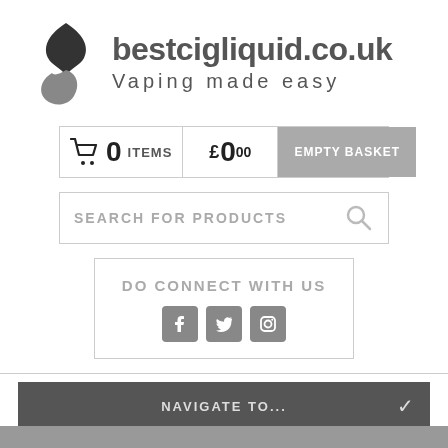[Figure (logo): bestcigliquid.co.uk logo with flame/leaf SVG icon and tagline 'Vaping made easy']
🛒 0 ITEMS  £0⁰⁰  EMPTY BASKET
SEARCH FOR PRODUCTS 🔍
DO CONNECT WITH US
NAVIGATE TO...